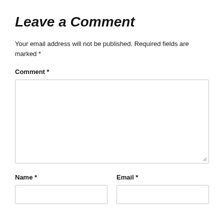Leave a Comment
Your email address will not be published. Required fields are marked *
Comment *
Name *
Email *